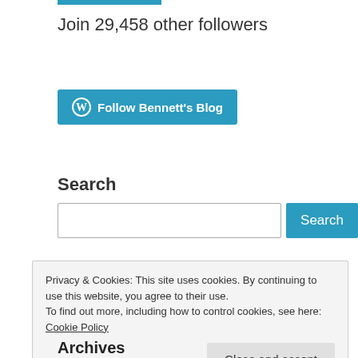[Figure (other): Blue horizontal bar partially cropped at top of page]
Join 29,458 other followers
[Figure (other): WordPress Follow button with W logo — Follow Bennett's Blog]
Search
[Figure (other): Search input field with Search button]
Privacy & Cookies: This site uses cookies. By continuing to use this website, you agree to their use.
To find out more, including how to control cookies, see here: Cookie Policy
Close and accept
Archives